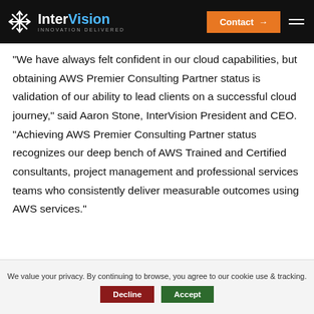InterVision INNOVATION DELIVERED — Contact
“We have always felt confident in our cloud capabilities, but obtaining AWS Premier Consulting Partner status is validation of our ability to lead clients on a successful cloud journey,” said Aaron Stone, InterVision President and CEO. “Achieving AWS Premier Consulting Partner status recognizes our deep bench of AWS Trained and Certified consultants, project management and professional services teams who consistently deliver measurable outcomes using AWS services.”
We value your privacy. By continuing to browse, you agree to our cookie use & tracking.